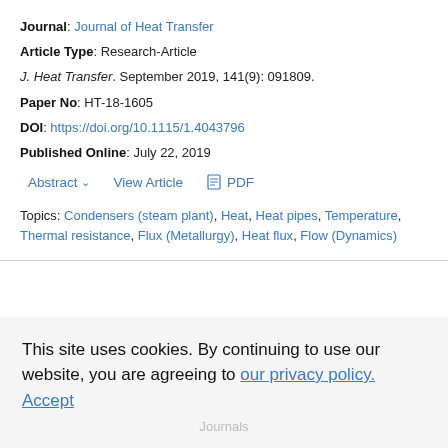Journal: Journal of Heat Transfer
Article Type: Research-Article
J. Heat Transfer. September 2019, 141(9): 091809.
Paper No: HT-18-1605
DOI: https://doi.org/10.1115/1.4043796
Published Online: July 22, 2019
Abstract  View Article  PDF
Topics: Condensers (steam plant), Heat, Heat pipes, Temperature, Thermal resistance, Flux (Metallurgy), Heat flux, Flow (Dynamics)
This site uses cookies. By continuing to use our website, you are agreeing to our privacy policy. Accept
Journals